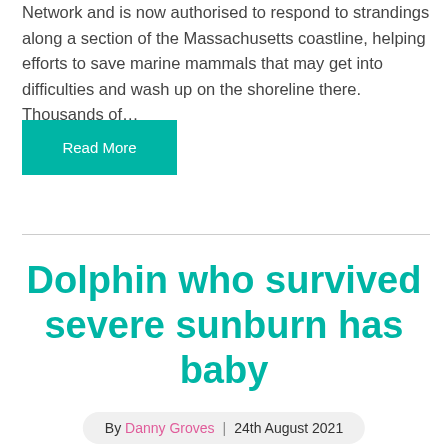Network and is now authorised to respond to strandings along a section of the Massachusetts coastline, helping efforts to save marine mammals that may get into difficulties and wash up on the shoreline there. Thousands of…
Read More
Dolphin who survived severe sunburn has baby
By Danny Groves | 24th August 2021